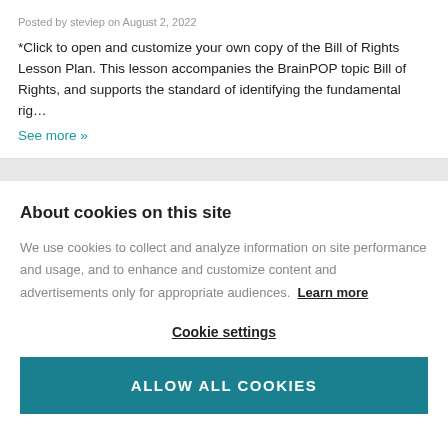Posted by steviep on August 2, 2022
*Click to open and customize your own copy of the Bill of Rights Lesson Plan. This lesson accompanies the BrainPOP topic Bill of Rights, and supports the standard of identifying the fundamental rig…
See more »
About cookies on this site
We use cookies to collect and analyze information on site performance and usage, and to enhance and customize content and advertisements only for appropriate audiences. Learn more
Cookie settings
ALLOW ALL COOKIES